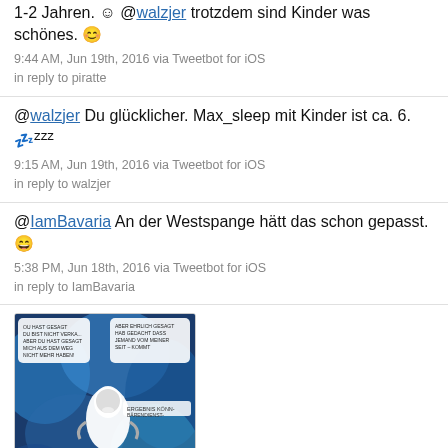1-2 Jahren. @ @walzjer trotzdem sind Kinder was schönes. 😊
9:44 AM, Jun 19th, 2016 via Tweetbot for iOS
in reply to piratte
@walzjer Du glücklicher. Max_sleep mit Kinder ist ca. 6. 😴zzz
9:15 AM, Jun 19th, 2016 via Tweetbot for iOS
in reply to walzjer
@IamBavaria An der Westspange hätt das schon gepasst. 😄
5:38 PM, Jun 18th, 2016 via Tweetbot for iOS
in reply to IamBavaria
[Figure (illustration): Comic strip image with a blue/teal underwater or abstract background, featuring cartoon characters with speech bubbles containing German text]